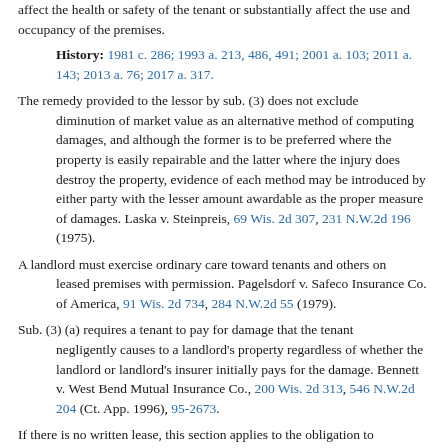affect the health or safety of the tenant or substantially affect the use and occupancy of the premises.
History: 1981 c. 286; 1993 a. 213, 486, 491; 2001 a. 103; 2011 a. 143; 2013 a. 76; 2017 a. 317.
The remedy provided to the lessor by sub. (3) does not exclude diminution of market value as an alternative method of computing damages, and although the former is to be preferred where the property is easily repairable and the latter where the injury does destroy the property, evidence of each method may be introduced by either party with the lesser amount awardable as the proper measure of damages. Laska v. Steinpreis, 69 Wis. 2d 307, 231 N.W.2d 196 (1975).
A landlord must exercise ordinary care toward tenants and others on leased premises with permission. Pagelsdorf v. Safeco Insurance Co. of America, 91 Wis. 2d 734, 284 N.W.2d 55 (1979).
Sub. (3) (a) requires a tenant to pay for damage that the tenant negligently causes to a landlord's property regardless of whether the landlord or landlord's insurer initially pays for the damage. Bennett v. West Bend Mutual Insurance Co., 200 Wis. 2d 313, 546 N.W.2d 204 (Ct. App. 1996), 95-2673.
If there is no written lease, this section applies to the obligation to make repairs. For there to be a remedy for a breach of a duty to repair other than that provided in this section, the obligation must be in a written lease signed by both parties. Halverson v. River Falls Youth Hockey Ass'n, 226 Wis. 2d 105, 593 N.W.2d 895 (Ct. App. 1999), 98-2445.
Sub. (2) does not authorize an independent cause of action for defective conditions that do not rise to the level of a health or